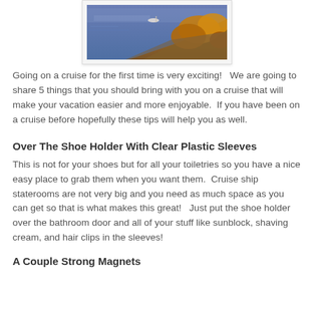[Figure (photo): Aerial or elevated photo of a coastline with blue water and autumn-colored foliage on rocky shore, with a small boat visible, displayed in a white photo frame on light gray background]
Going on a cruise for the first time is very exciting!   We are going to share 5 things that you should bring with you on a cruise that will make your vacation easier and more enjoyable.  If you have been on a cruise before hopefully these tips will help you as well.
Over The Shoe Holder With Clear Plastic Sleeves
This is not for your shoes but for all your toiletries so you have a nice easy place to grab them when you want them.  Cruise ship staterooms are not very big and you need as much space as you can get so that is what makes this great!   Just put the shoe holder over the bathroom door and all of your stuff like sunblock, shaving cream, and hair clips in the sleeves!
A Couple Strong Magnets